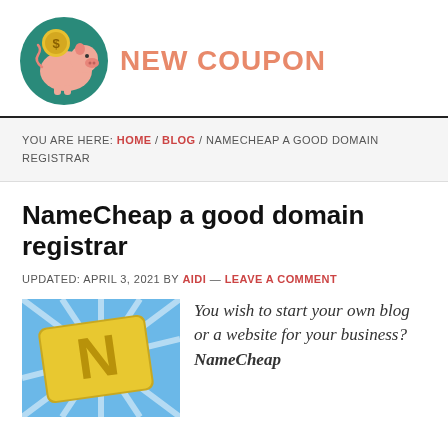[Figure (logo): Pink piggy bank with a gold coin on a teal circular background, next to orange text reading NEW COUPON]
YOU ARE HERE: HOME / BLOG / NAMECHEAP A GOOD DOMAIN REGISTRAR
NameCheap a good domain registrar
UPDATED: APRIL 3, 2021 BY AIDI — LEAVE A COMMENT
[Figure (illustration): NameCheap logo/badge with gold lettering on blue background with radiating light rays]
You wish to start your own blog or a website for your business? NameCheap